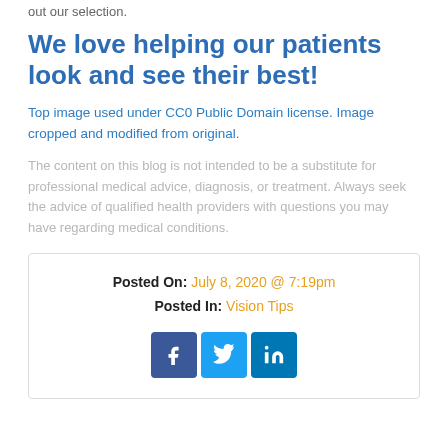out our selection.
We love helping our patients look and see their best!
Top image used under CC0 Public Domain license. Image cropped and modified from original.
The content on this blog is not intended to be a substitute for professional medical advice, diagnosis, or treatment. Always seek the advice of qualified health providers with questions you may have regarding medical conditions.
Posted On: July 8, 2020 @ 7:19pm
Posted In: Vision Tips